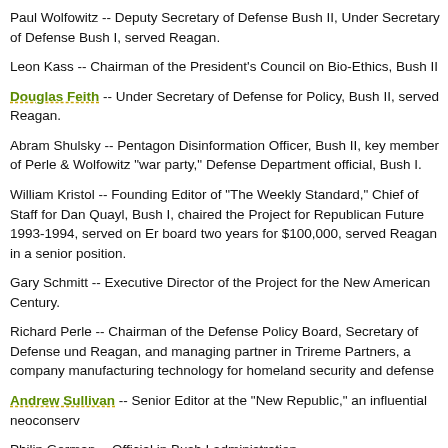Paul Wolfowitz -- Deputy Secretary of Defense Bush II, Under Secretary of Defense Bush I, served Reagan.
Leon Kass -- Chairman of the President's Council on Bio-Ethics, Bush II
Douglas Feith -- Under Secretary of Defense for Policy, Bush II, served Reagan.
Abram Shulsky -- Pentagon Disinformation Officer, Bush II, key member of Perle Wolfowitz "war party," Defense Department official, Bush I.
William Kristol -- Founding Editor of "The Weekly Standard," Chief of Staff for Dan Quayl, Bush I, chaired the Project for Republican Future 1993-1994, served on board two years for $100,000, served Reagan in a senior position.
Gary Schmitt -- Executive Director of the Project for the New American Century.
Richard Perle -- Chairman of the Defense Policy Board, Secretary of Defense under Reagan, and managing partner in Trireme Partners, a company manufacturing technology for homeland security and defense
Andrew Sullivan -- Senior Editor at the "New Republic," an influential neoconservative
Philip Gorman -- Official in Bush I administration
David Brooks -- Senior editor of The Weekly Standard and columnist for the New York Times.